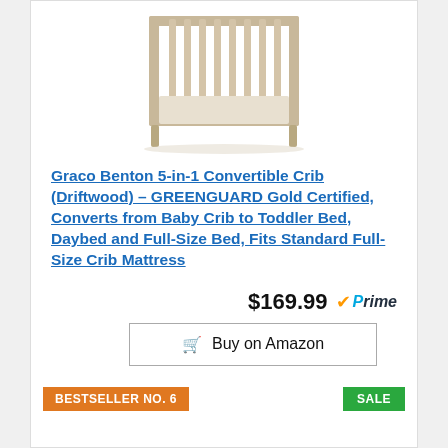[Figure (photo): Photo of a Graco Benton 5-in-1 Convertible Crib in Driftwood color, showing wooden slats and frame on white background]
Graco Benton 5-in-1 Convertible Crib (Driftwood) – GREENGUARD Gold Certified, Converts from Baby Crib to Toddler Bed, Daybed and Full-Size Bed, Fits Standard Full-Size Crib Mattress
$169.99 Prime
Buy on Amazon
BESTSELLER NO. 6
SALE